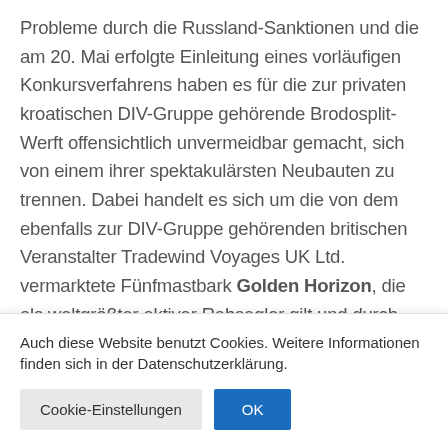Probleme durch die Russland-Sanktionen und die am 20. Mai erfolgte Einleitung eines vorläufigen Konkursverfahrens haben es für die zur privaten kroatischen DIV-Gruppe gehörende Brodosplit-Werft offensichtlich unvermeidbar gemacht, sich von einem ihrer spektakulärsten Neubauten zu trennen. Dabei handelt es sich um die von dem ebenfalls zur DIV-Gruppe gehörenden britischen Veranstalter Tradewind Voyages UK Ltd. vermarktete Fünfmastbark Golden Horizon, die als weltgrößter aktiver Rahsegler gilt und durch ihre hohe Eisklasse und Safe-Return-to-Port-Auslegung auch für
Auch diese Website benutzt Cookies. Weitere Informationen finden sich in der Datenschutzerklärung.
Cookie-Einstellungen  OK